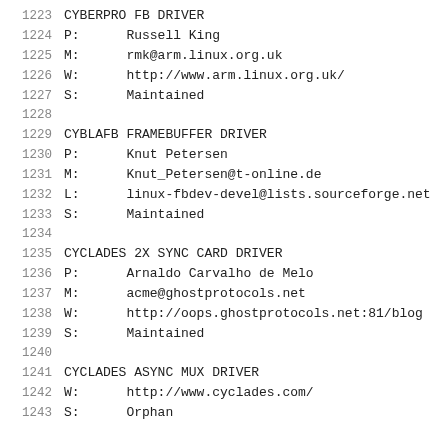1223    CYBERPRO FB DRIVER
1224    P:      Russell King
1225    M:      rmk@arm.linux.org.uk
1226    W:      http://www.arm.linux.org.uk/
1227    S:      Maintained
1228
1229    CYBLAFB FRAMEBUFFER DRIVER
1230    P:      Knut Petersen
1231    M:      Knut_Petersen@t-online.de
1232    L:      linux-fbdev-devel@lists.sourceforge.net
1233    S:      Maintained
1234
1235    CYCLADES 2X SYNC CARD DRIVER
1236    P:      Arnaldo Carvalho de Melo
1237    M:      acme@ghostprotocols.net
1238    W:      http://oops.ghostprotocols.net:81/blog
1239    S:      Maintained
1240
1241    CYCLADES ASYNC MUX DRIVER
1242    W:      http://www.cyclades.com/
1243    S:      Orphan